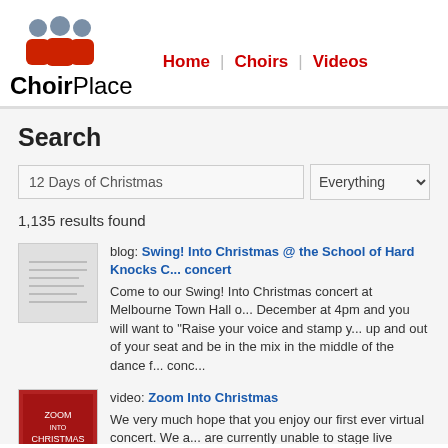[Figure (logo): ChoirPlace logo with three choir figures in red and grey above the text 'ChoirPlace']
Home | Choirs | Videos
Search
12 Days of Christmas [search input] Everything [dropdown]
1,135 results found
blog: Swing! Into Christmas @ the School of Hard Knocks C... concert
Come to our Swing! Into Christmas concert at Melbourne Town Hall o... December at 4pm and you will want to "Raise your voice and stamp y... up and out of your seat and be in the mix in the middle of the dance f... conc...
video: Zoom Into Christmas
We very much hope that you enjoy our first ever virtual concert. We a... are currently unable to stage live concerts and engage professional m... play with us. These musicians, who are largely self-employed, have b... especially hard ... more